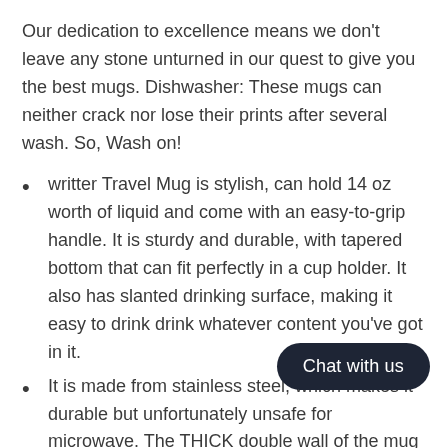Our dedication to excellence means we don't leave any stone unturned in our quest to give you the best mugs. Dishwasher: These mugs can neither crack nor lose their prints after several wash. So, Wash on!
writter Travel Mug is stylish, can hold 14 oz worth of liquid and come with an easy-to-grip handle. It is sturdy and durable, with tapered bottom that can fit perfectly in a cup holder. It also has slanted drinking surface, making it easy to drink drink whatever content you've got in it.
It is made from stainless steel, which makes it durable but unfortunately unsafe for microwave. The THICK double wall of the mug keeps the drink either very hot or cold, for a long time.
The printing is made from top quality … so do not wash off easily. They last very…
The lid is safe for dishwashers and are shatter resistant.